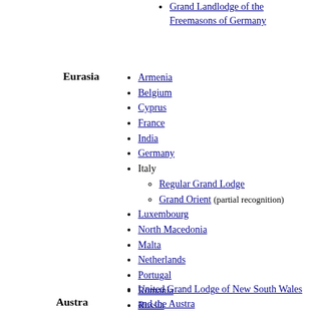Grand Landlodge of the Freemasons of Germany
Eurasia
Armenia
Belgium
Cyprus
France
India
Germany
Italy
Regular Grand Lodge
Grand Orient (partial recognition)
Luxembourg
North Macedonia
Malta
Netherlands
Portugal
Romania
Russia
Switzerland
Turkey
Australia
United Grand Lodge of New South Wales and the Australian Capital Territory